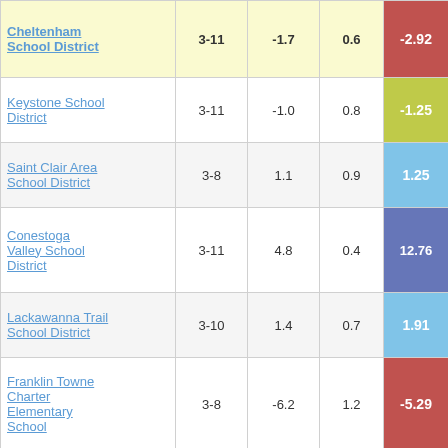| School District | Grades | Col3 | Col4 | Score |
| --- | --- | --- | --- | --- |
| Cheltenham School District | 3-11 | -1.7 | 0.6 | -2.92 |
| Keystone School District | 3-11 | -1.0 | 0.8 | -1.25 |
| Saint Clair Area School District | 3-8 | 1.1 | 0.9 | 1.25 |
| Conestoga Valley School District | 3-11 | 4.8 | 0.4 | 12.76 |
| Lackawanna Trail School District | 3-10 | 1.4 | 0.7 | 1.91 |
| Franklin Towne Charter Elementary School | 3-8 | -6.2 | 1.2 | -5.29 |
| Mechanicsburg Area School District | 3-11 | -1.3 | 0.4 | -3.51 |